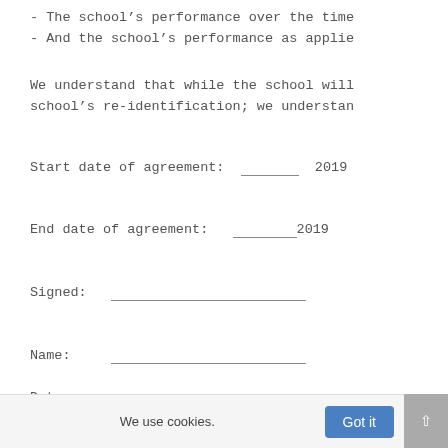- The school's performance over the time
- And the school's performance as applie
We understand that while the school will school's re-identification; we understan
Start date of agreement: _____ 2019
End date of agreement: _______2019
Signed: ____________________
Name: ______________________
Date: ______________________
19
We use cookies.  Got it